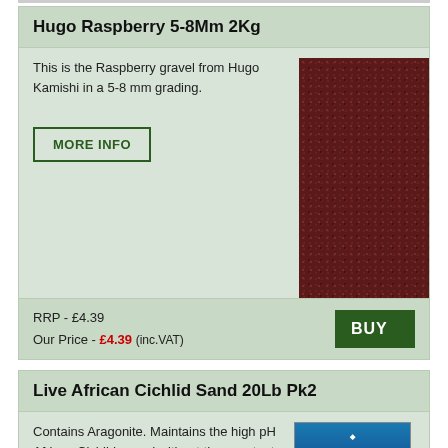Hugo Raspberry 5-8Mm 2Kg
This is the Raspberry gravel from Hugo Kamishi in a 5-8 mm grading.
[Figure (photo): Close-up photo of dark raspberry/maroon colored aquarium gravel stones]
RRP - £4.39
Our Price - £4.39 (inc.VAT)
Live African Cichlid Sand 20Lb Pk2
Contains Aragonite. Maintains the high pH African Cichlids need without the constant addition of chemicals. Buffers automatically for the life of the aquarium.
[Figure (photo): Product bag of Live African Cichlid Sand 20Lb Pk2]